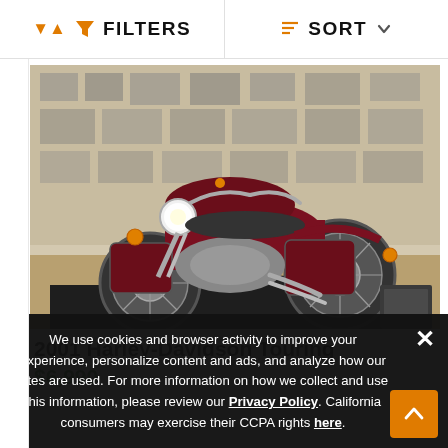FILTERS   SORT
[Figure (photo): Red 2001 Harley-Davidson Touring motorcycle displayed indoors on a black mat, with black and white photographs on the wall in the background]
2001 Harley-Davidson Touring
$6,990
We use cookies and browser activity to improve your experience, personalize content and ads, and analyze how our sites are used. For more information on how we collect and use this information, please review our Privacy Policy. California consumers may exercise their CCPA rights here.